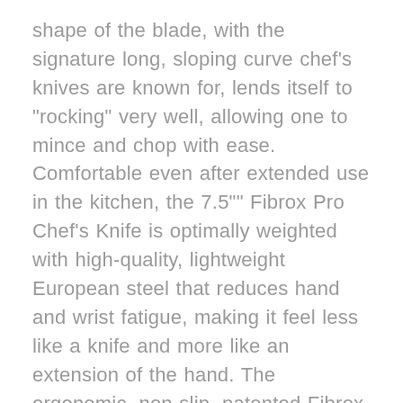shape of the blade, with the signature long, sloping curve chef's knives are known for, lends itself to "rocking" very well, allowing one to mince and chop with ease. Comfortable even after extended use in the kitchen, the 7.5" Fibrox Pro Chef's Knife is optimally weighted with high-quality, lightweight European steel that reduces hand and wrist fatigue, making it feel less like a knife and more like an extension of the hand. The ergonomic, non-slip, patented Fibrox Pro handle provides a comfortable grip no matter the size of your hand or where you are gripping the handle. Designed to minimize wrist tension while providing a secure grip, the Fibrox Pro handle is both lightweight and durable. Offering perfect balance, the textured handle feels secure even when greasy or wet, leaving you feeling in control to make precise and effortless cuts every time. For all of these reasons, Fibrox Pro cutlery has been the choice of culinary professionals for